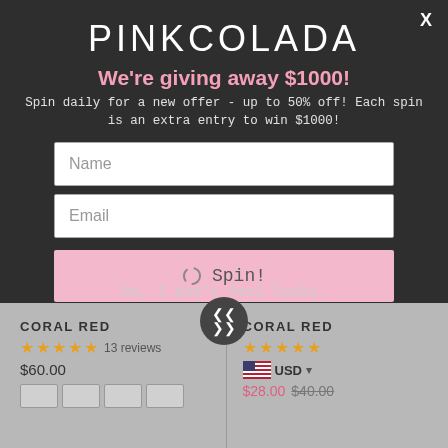PINKCOLADA
We're giving away $1000!
Spin daily for a new offer - up to 50% off! Each spin is an extra entry to win $1000!
Name
Email
Spin!
No, I don't feel lucky.
CORAL RED
★★★★★ 13 reviews
$60.00
CORAL RED
★★★★★ USD ▾
$28.00 $40.00